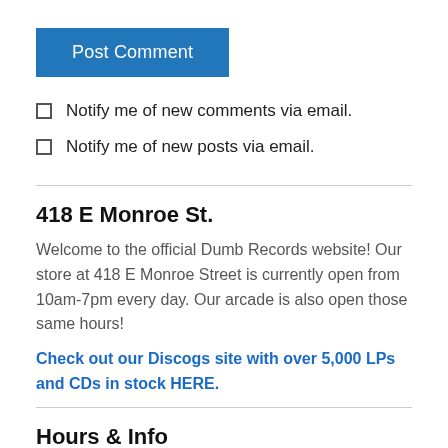[Figure (other): Blue 'Post Comment' button]
Notify me of new comments via email.
Notify me of new posts via email.
418 E Monroe St.
Welcome to the official Dumb Records website! Our store at 418 E Monroe Street is currently open from 10am-7pm every day. Our arcade is also open those same hours!
Check out our Discogs site with over 5,000 LPs and CDs in stock HERE.
Hours & Info
[Figure (other): Yellow/orange banner strip at bottom]